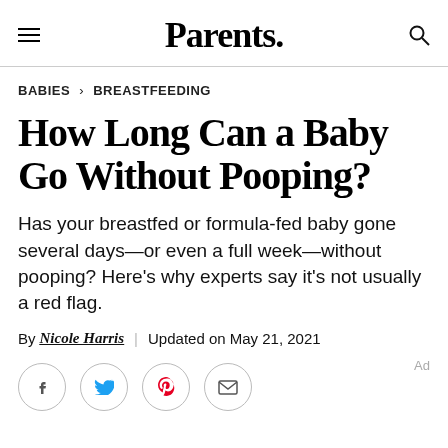Parents.
BABIES > BREASTFEEDING
How Long Can a Baby Go Without Pooping?
Has your breastfed or formula-fed baby gone several days—or even a full week—without pooping? Here's why experts say it's not usually a red flag.
By Nicole Harris | Updated on May 21, 2021